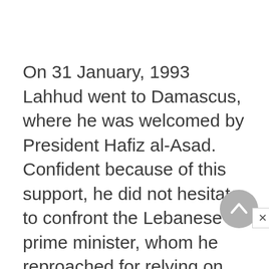On 31 January, 1993 Lahhud went to Damascus, where he was welcomed by President Hafiz al-Asad. Confident because of this support, he did not hesitate to confront the Lebanese prime minister, whom he reproached for relying on internal security forces (ISF), to the detriment of the army. Favoring good relations between Syria and Lebanon, Lahhud worked to